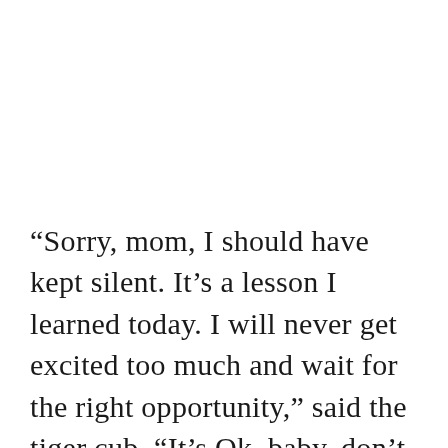“Sorry, mom, I should have kept silent. It’s a lesson I learned today. I will never get excited too much and wait for the right opportunity,” said the tiger cub. “It’s Ok, baby, don’t worry. Sometimes we all get excited